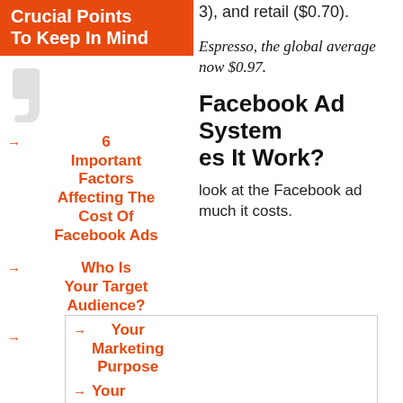Crucial Points To Keep In Mind
3), and retail ($0.70).
→ 6 Important Factors Affecting The Cost Of Facebook Ads
Espresso, the global average now $0.97.
Facebook Ad System es It Work?
→ Who Is Your Target Audience?
look at the Facebook ad much it costs.
→ Your Marketing Purpose
→ Your